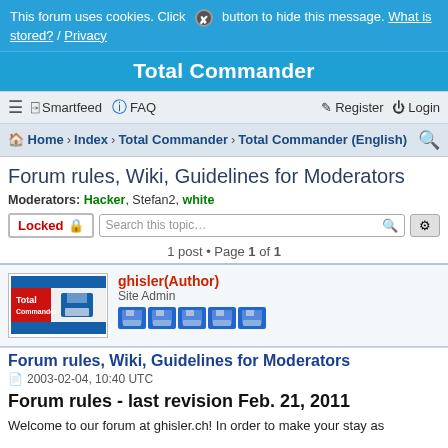This forum uses cookies. Click ⊗ button to hide this message. What is stored? / Privacy
Total Commander
≡  Smartfeed  ? FAQ    Register  Login
Home › Index › Total Commander › Total Commander (English)
Forum rules, Wiki, Guidelines for Moderators
Moderators: Hacker, Stefan2, white
Locked  Search this topic...
1 post • Page 1 of 1
ghisler(Author)
Site Admin
Forum rules, Wiki, Guidelines for Moderators
2003-02-04, 10:40 UTC
Forum rules - last revision Feb. 21, 2011
Welcome to our forum at ghisler.ch! In order to make your stay as